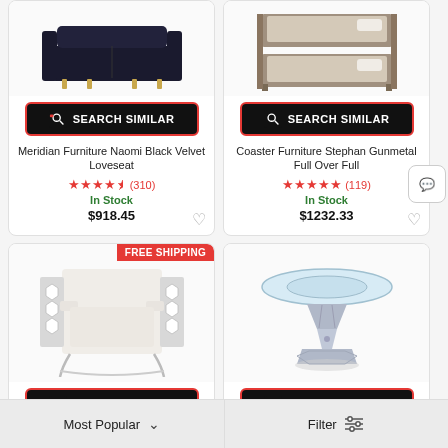[Figure (photo): Meridian Furniture Naomi Black Velvet Loveseat product image (cropped top)]
SEARCH SIMILAR
Meridian Furniture Naomi Black Velvet Loveseat
★★★★½ (310)
In Stock
$918.45
[Figure (photo): Coaster Furniture Stephan Gunmetal Full Over Full product image (cropped top)]
SEARCH SIMILAR
Coaster Furniture Stephan Gunmetal Full Over Full
★★★★★ (119)
In Stock
$1232.33
[Figure (photo): White accent chair with hexagon patterned metal sides, FREE SHIPPING badge]
SEARCH SIMILAR
[Figure (photo): Glass top dining table with mirrored/crystal pedestal base]
SEARCH SIMILAR
Most Popular
Filter